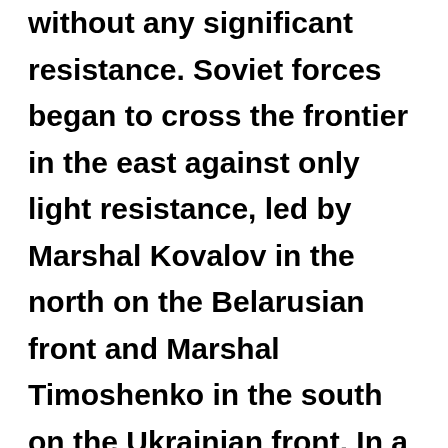without any significant resistance. Soviet forces began to cross the frontier in the east against only light resistance, led by Marshal Kovalov in the north on the Belarusian front and Marshal Timoshenko in the south on the Ukrainian front. In a radio broadcast the same day, Molotov justified the Soviet action by the 'plausible' argument he had outlined to Schulenberg. Caught between the two